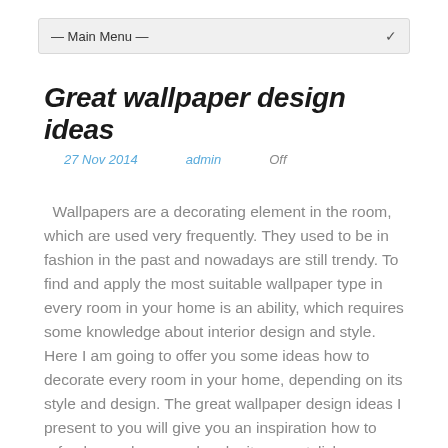— Main Menu —
Great wallpaper design ideas
27 Nov 2014    admin    Off
Wallpapers are a decorating element in the room, which are used very frequently. They used to be in fashion in the past and nowadays are still trendy. To find and apply the most suitable wallpaper type in every room in your home is an ability, which requires some knowledge about interior design and style. Here I am going to offer you some ideas how to decorate every room in your home, depending on its style and design. The great wallpaper design ideas I present to you will give you an inspiration how to refresh your home and make it more stylish.